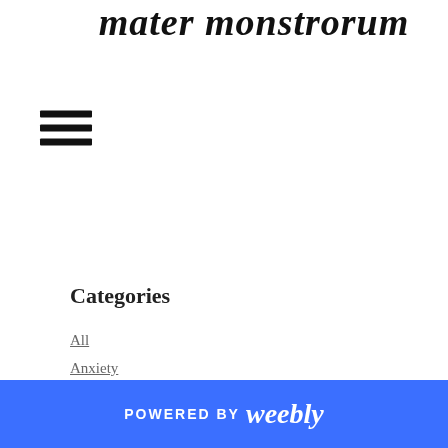mater monstrorum
Categories
All
Anxiety
Chronic Illness
Comorbidity
COVID Concerns
Politics
Preparedness
Preplanning
RSS Feed
POWERED BY weebly